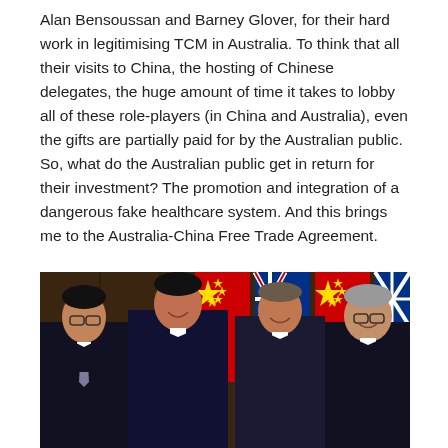Alan Bensoussan and Barney Glover, for their hard work in legitimising TCM in Australia. To think that all their visits to China, the hosting of Chinese delegates, the huge amount of time it takes to lobby all of these role-players (in China and Australia), even the gifts are partially paid for by the Australian public. So, what do the Australian public get in return for their investment? The promotion and integration of a dangerous fake healthcare system. And this brings me to the Australia-China Free Trade Agreement.
[Figure (photo): Four men in dark suits standing in front of alternating Chinese (red with yellow stars) and Australian (blue with Union Jack and stars) flags. The men appear to be officials at a formal diplomatic event, smiling for a photo.]